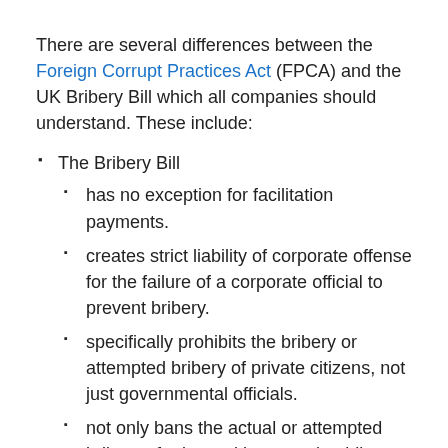There are several differences between the Foreign Corrupt Practices Act (FPCA) and the UK Bribery Bill which all companies should understand. These include:
The Bribery Bill
has no exception for facilitation payments.
creates strict liability of corporate offense for the failure of a corporate official to prevent bribery.
specifically prohibits the bribery or attempted bribery of private citizens, not just governmental officials.
not only bans the actual or attempted bribery of private citizens and public officials but all the receipt of such bribes.
has criminal penalties of up to 10 years per offense